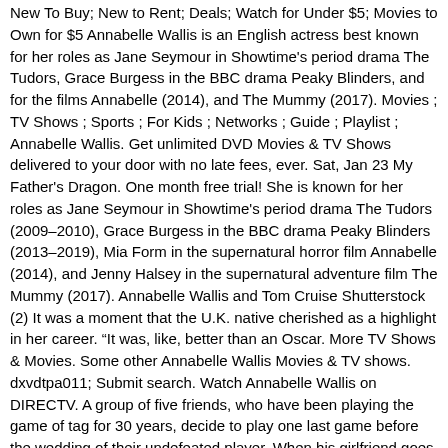New To Buy; New to Rent; Deals; Watch for Under $5; Movies to Own for $5 Annabelle Wallis is an English actress best known for her roles as Jane Seymour in Showtime's period drama The Tudors, Grace Burgess in the BBC drama Peaky Blinders, and for the films Annabelle (2014), and The Mummy (2017). Movies ; TV Shows ; Sports ; For Kids ; Networks ; Guide ; Playlist ; Annabelle Wallis. Get unlimited DVD Movies & TV Shows delivered to your door with no late fees, ever. Sat, Jan 23 My Father's Dragon. One month free trial! She is known for her roles as Jane Seymour in Showtime's period drama The Tudors (2009–2010), Grace Burgess in the BBC drama Peaky Blinders (2013–2019), Mia Form in the supernatural horror film Annabelle (2014), and Jenny Halsey in the supernatural adventure film The Mummy (2017). Annabelle Wallis and Tom Cruise Shutterstock (2) It was a moment that the U.K. native cherished as a highlight in her career. "It was, like, better than an Oscar. More TV Shows & Movies. Some other Annabelle Wallis Movies & TV shows. dxvdtpa011; Submit search. Watch Annabelle Wallis on DIRECTV. A group of five friends, who have been playing the game of tag for 30 years, decide to play one last game before the wedding of their undefeated player. When his girlfriend goes missing, David must track down her whereabouts after he realizes she's not who she was pretending to be. Annabelle made her Bollywood debut with the movie Dil Jo Bhi Kahey in 2005.She also starred as Amy in X-Men First Class in 2005.Following this, she appeared in the dark fantasy movie, Snow White